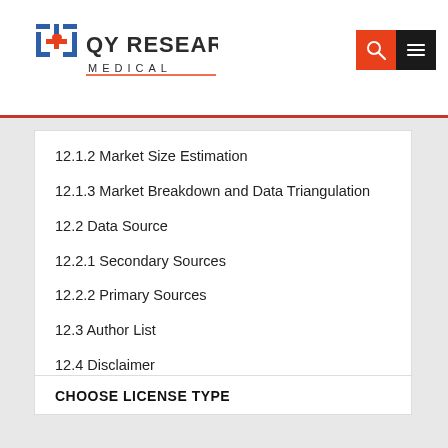QY RESEARCH MEDICAL
12.1.2 Market Size Estimation
12.1.3 Market Breakdown and Data Triangulation
12.2 Data Source
12.2.1 Secondary Sources
12.2.2 Primary Sources
12.3 Author List
12.4 Disclaimer
CHOOSE LICENSE TYPE